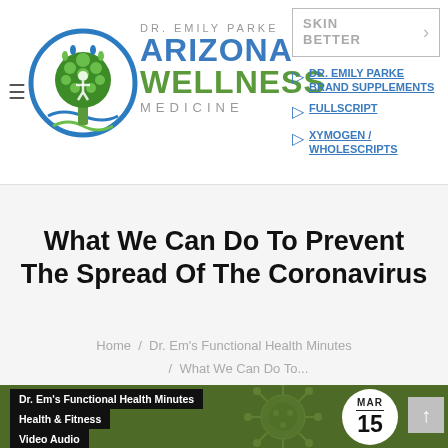[Figure (logo): Dr. Emily Parke Arizona Wellness Medicine circular tree logo with blue and green colors]
DR. EMILY PARKE ARIZONA WELLNESS MEDICINE | SKIN BETTER > | DR. EMILY PARKE BRAND SUPPLEMENTS | FULLSCRIPT | XYMOGEN / WHOLESCRIPTS
What We Can Do To Prevent The Spread Of The Coronavirus
Home / Dr. Em's Functional Health Minutes / What We Can Do To...
[Figure (infographic): Green banner with coronavirus/virus background pattern, black tag labels for Dr. Em's Functional Health Minutes, Health & Fitness, Video Audio, and a white circular date badge showing MAR 15]
Dr. Em's Functional Health Minutes
Health & Fitness
Video Audio